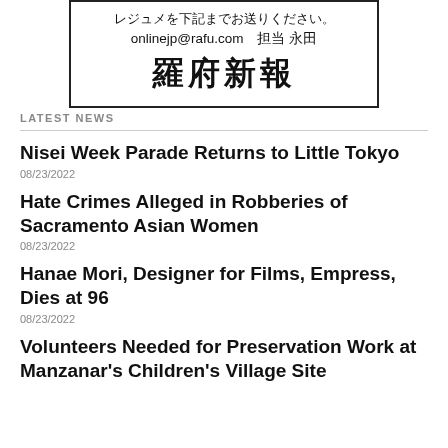[Figure (other): Advertisement box with Japanese text: レジュメを下記までお送りください。 onlinejp@rafu.com 担当 永田 羅府新報]
LATEST NEWS
Nisei Week Parade Returns to Little Tokyo
08/23/2022
Hate Crimes Alleged in Robberies of Sacramento Asian Women
08/23/2022
Hanae Mori, Designer for Films, Empress, Dies at 96
08/23/2022
Volunteers Needed for Preservation Work at Manzanar's Children's Village Site